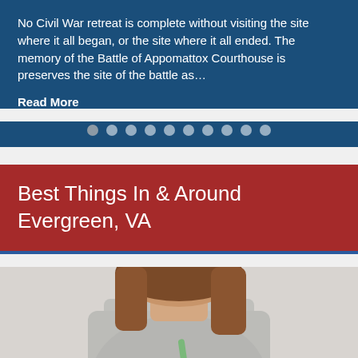No Civil War retreat is complete without visiting the site where it all began, or the site where it all ended. The memory of the Battle of Appomattox Courthouse is preserves the site of the battle as…
Read More
[Figure (other): Carousel navigation dots row — 10 circular dots in white/gray on dark blue background]
Best Things In & Around Evergreen, VA
[Figure (photo): Woman in gray sleeveless top holding a mason jar with green smoothie and green straw, cropped at chest level with light gray background]